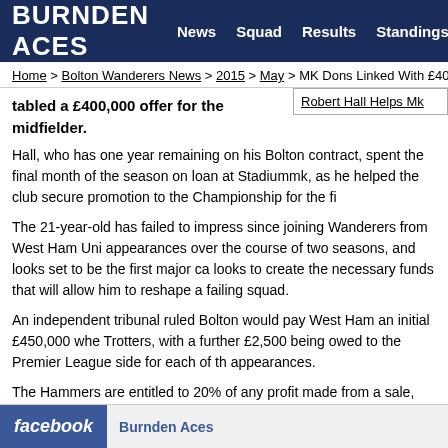BURNDEN ACES  News  Squad  Results  Standings
Home > Bolton Wanderers News > 2015 > May > MK Dons Linked With £400,000
tabled a £400,000 offer for the midfielder.
Robert Hall Helps Mk
Hall, who has one year remaining on his Bolton contract, spent the final month of the season on loan at Stadiummk, as he helped the club secure promotion to the Championship for the fi
The 21-year-old has failed to impress since joining Wanderers from West Ham Uni appearances over the course of two seasons, and looks set to be the first major ca looks to create the necessary funds that will allow him to reshape a failing squad.
An independent tribunal ruled Bolton would pay West Ham an initial £450,000 whe Trotters, with a further £2,500 being owed to the Premier League side for each of th appearances.
The Hammers are entitled to 20% of any profit made from a sale, although the figu would see them miss out on any sell-on fee.
facebook  Burnden Aces